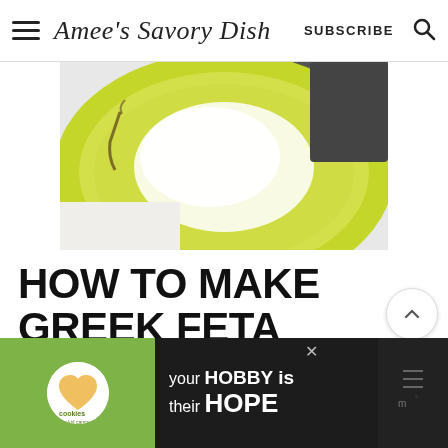Amee's Savory Dish  SUBSCRIBE
[Figure (photo): Close-up photo of a green ceramic plate with white feta dip]
HOW TO MAKE GREEK FETA PROTEIN DIP
Ingredients You'll Need For This Recipe:
[Figure (photo): Advertisement banner: cookies for kid cancer / your HOBBY is their HOPE]